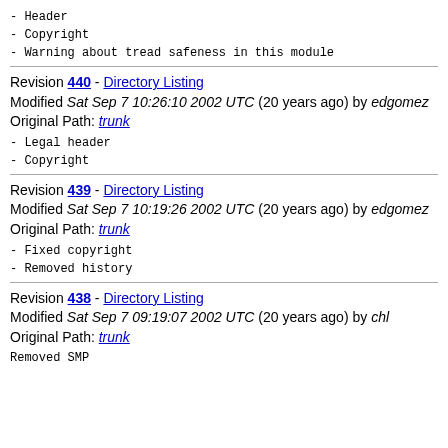- Header
- Copyright
- Warning about tread safeness in this module
Revision 440 - Directory Listing
Modified Sat Sep 7 10:26:10 2002 UTC (20 years ago) by edgomez
Original Path: trunk
- Legal header
- Copyright
Revision 439 - Directory Listing
Modified Sat Sep 7 10:19:26 2002 UTC (20 years ago) by edgomez
Original Path: trunk
- Fixed copyright
- Removed history
Revision 438 - Directory Listing
Modified Sat Sep 7 09:19:07 2002 UTC (20 years ago) by chl
Original Path: trunk
Removed SMP